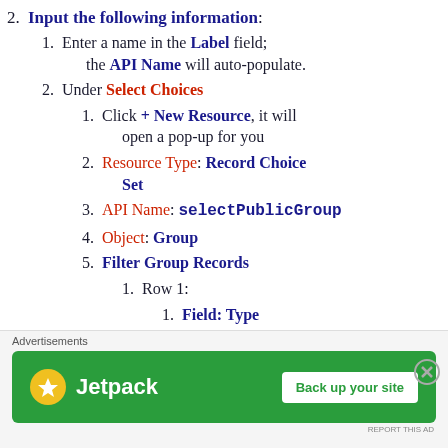2. Input the following information:
1. Enter a name in the Label field; the API Name will auto-populate.
2. Under Select Choices
1. Click + New Resource, it will open a pop-up for you
2. Resource Type: Record Choice Set
3. API Name: selectPublicGroup
4. Object: Group
5. Filter Group Records
1. Row 1:
1. Field: Type
2. Operator: Equals
[Figure (infographic): Jetpack advertisement banner with green background, Jetpack logo, and 'Back up your site' button. Labeled 'Advertisements' above.]